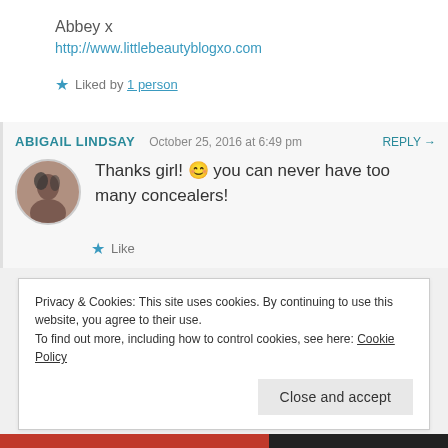Abbey x
http://www.littlebeautyblogxo.com
★ Liked by 1 person
ABIGAIL LINDSAY  October 25, 2016 at 6:49 pm  REPLY →
Thanks girl! 😊 you can never have too many concealers!
★ Like
Privacy & Cookies: This site uses cookies. By continuing to use this website, you agree to their use.
To find out more, including how to control cookies, see here: Cookie Policy
Close and accept